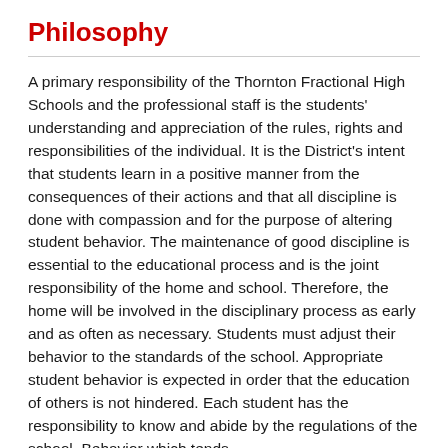Philosophy
A primary responsibility of the Thornton Fractional High Schools and the professional staff is the students' understanding and appreciation of the rules, rights and responsibilities of the individual. It is the District's intent that students learn in a positive manner from the consequences of their actions and that all discipline is done with compassion and for the purpose of altering student behavior. The maintenance of good discipline is essential to the educational process and is the joint responsibility of the home and school. Therefore, the home will be involved in the disciplinary process as early and as often as necessary. Students must adjust their behavior to the standards of the school. Appropriate student behavior is expected in order that the education of others is not hindered. Each student has the responsibility to know and abide by the regulations of the school. Behavior which tends